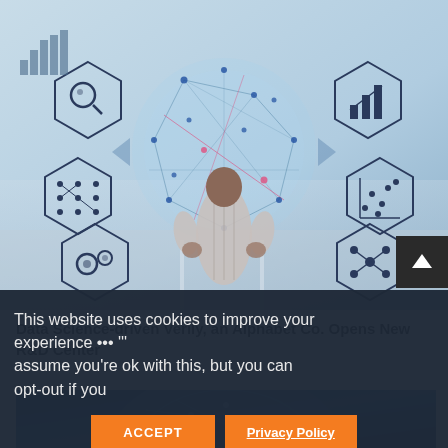[Figure (photo): A man in a white shirt standing with hands on hips, viewed from behind, looking at a glowing network/data globe surrounded by hexagonal icons representing analytics, machine learning, gears, and charts. The background shows a blurred cityscape.]
Data Science-driven Verily, an Alphabet Co. Opens New R&D Center
[Figure (photo): Partial view of a globe with blue digital network overlay, partially visible at the bottom of the page.]
This website uses cookies to improve your experience ... assume you're ok with this, but you can opt-out if you